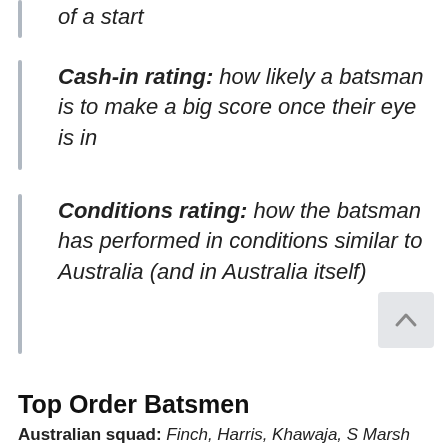of a start
Cash-in rating: how likely a batsman is to make a big score once their eye is in
Conditions rating: how the batsman has performed in conditions similar to Australia (and in Australia itself)
Top Order Batsmen
Australian squad: Finch, Harris, Khawaja, S Marsh
Indian squad: Rahul, Shaw, Pujara, Vijay,